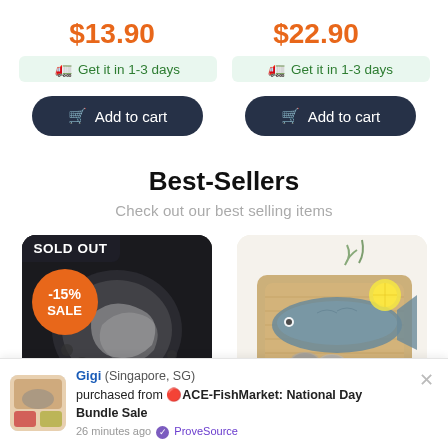$13.90
$22.90
🚚 Get it in 1-3 days
🚚 Get it in 1-3 days
🛒 Add to cart
🛒 Add to cart
Best-Sellers
Check out our best selling items
[Figure (photo): Product image of shrimp/prawns on ice on a dark background with SOLD OUT banner and -15% SALE badge]
[Figure (photo): Product image of whole fish on a wooden cutting board with lemon slices and small bowls]
Gigi (Singapore, SG) purchased from 🔴ACE-FishMarket: National Day Bundle Sale 26 minutes ago ✅ ProveSource